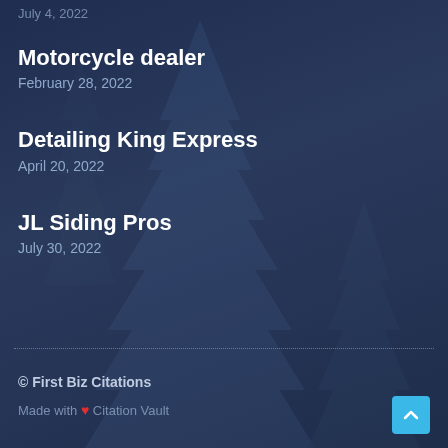July 4, 2022
Motorcycle dealer
February 28, 2022
Detailing King Express
April 20, 2022
JL Siding Pros
July 30, 2022
© First Biz Citations
Made with ❤ Citation Vault